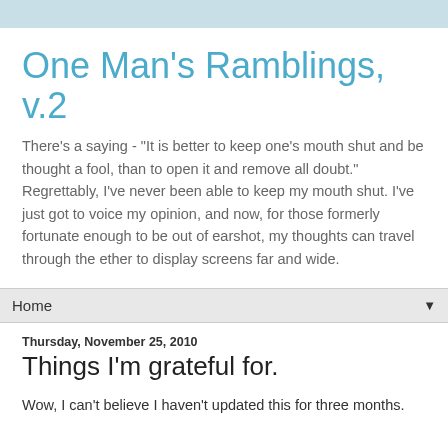One Man's Ramblings, v.2
There's a saying - "It is better to keep one's mouth shut and be thought a fool, than to open it and remove all doubt." Regrettably, I've never been able to keep my mouth shut. I've just got to voice my opinion, and now, for those formerly fortunate enough to be out of earshot, my thoughts can travel through the ether to display screens far and wide.
Home
Thursday, November 25, 2010
Things I'm grateful for.
Wow, I can't believe I haven't updated this for three months.